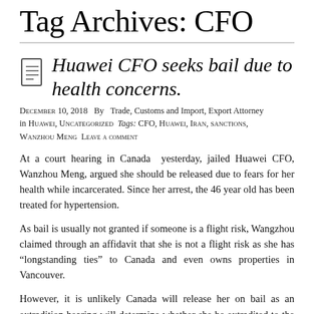Tag Archives: CFO
Huawei CFO seeks bail due to health concerns.
December 10, 2018  By  Trade, Customs and Import, Export Attorney in Huawei, Uncategorized  Tags: CFO, Huawei, Iran, sanctions, Wanzhou Meng   Leave a comment
At a court hearing in Canada  yesterday, jailed Huawei CFO, Wanzhou Meng, argued she should be released due to fears for her health while incarcerated. Since her arrest, the 46 year old has been treated for hypertension.
As bail is usually not granted if someone is a flight risk, Wangzhou claimed through an affidavit that she is not a flight risk as she has “longstanding ties” to Canada and even owns properties in Vancouver.
However, it is unlikely Canada will release her on bail as an extradition hearing will determine whether she be extradited to the United States to